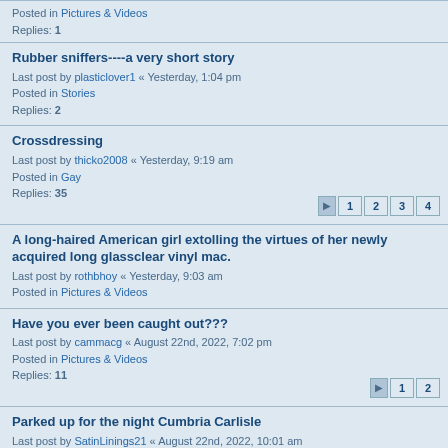Posted in Pictures & Videos
Replies: 1
Rubber sniffers----a very short story
Last post by plasticlover1 « Yesterday, 1:04 pm
Posted in Stories
Replies: 2
Crossdressing
Last post by thicko2008 « Yesterday, 9:19 am
Posted in Gay
Replies: 35
A long-haired American girl extolling the virtues of her newly acquired long glassclear vinyl mac.
Last post by rothbhoy « Yesterday, 9:03 am
Posted in Pictures & Videos
Have you ever been caught out???
Last post by cammacg « August 22nd, 2022, 7:02 pm
Posted in Pictures & Videos
Replies: 11
Parked up for the night Cumbria Carlisle
Last post by SatinLinings21 « August 22nd, 2022, 10:01 am
Posted in Members Meet
Replies: 2
'56 Rue Pigalle' (French film from 1949). Marie Déa in a nice shiny vintage PVC mac.
Last post by rothbhoy « August 22nd, 2022, 8:58 am
Posted in Pictures & Videos
Guys raincoats and long leather coats
Last post by SatinLinings21 « August 21st, 2022, 7:51 pm